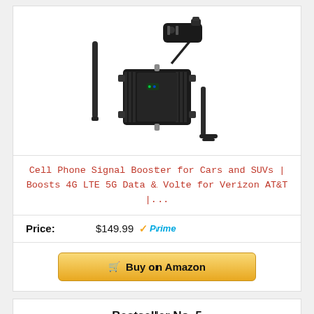[Figure (photo): Cell phone signal booster device kit showing amplifier unit with antennas and car power adapter]
Cell Phone Signal Booster for Cars and SUVs | Boosts 4G LTE 5G Data & Volte for Verizon AT&T |...
Price: $149.99 Prime
Buy on Amazon
Bestseller No. 5